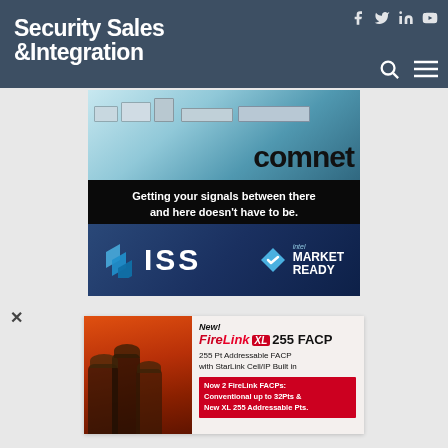Security Sales & Integration
[Figure (advertisement): ComNet advertisement: networking hardware devices shown, with tagline 'Getting your signals between there and here doesn't have to be.']
[Figure (advertisement): ISS advertisement with Intel Market Ready badge on dark blue background]
[Figure (advertisement): FireLink XL 255 FACP advertisement: New! FireLink XL 255 FACP - 255 Pt Addressable FACP with StarLink Cell/IP Built in. Now 2 FireLink FACPs: Conventional up to 32Pts & New XL 255 Addressable Pts.]